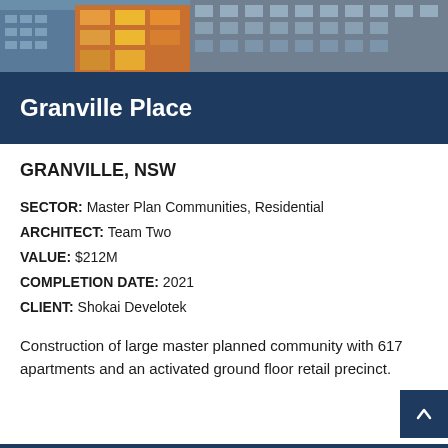[Figure (photo): Exterior photo of Granville Place residential building showing modern architecture with balconies, colourful facade elements in yellow and orange, and glass surfaces.]
Granville Place
GRANVILLE, NSW
SECTOR: Master Plan Communities, Residential
ARCHITECT: Team Two
VALUE: $212M
COMPLETION DATE: 2021
CLIENT: Shokai Develotek
Construction of large master planned community with 617 apartments and an activated ground floor retail precinct.